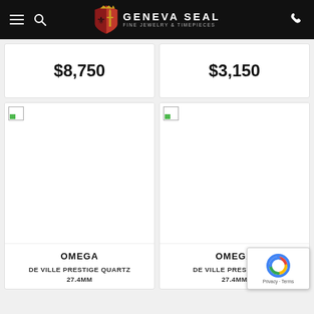Geneva Seal Fine Jewelry & Timepieces — navigation bar
$8,750
$3,150
[Figure (photo): Product image placeholder (broken image icon) for Omega De Ville Prestige Quartz 27.4MM, left card]
OMEGA
DE VILLE PRESTIGE QUARTZ
27.4MM
[Figure (photo): Product image placeholder (broken image icon) for Omega De Ville Prestige Quartz 27.4MM, right card]
OMEGA
DE VILLE PRESTIGE QU...
27.4MM